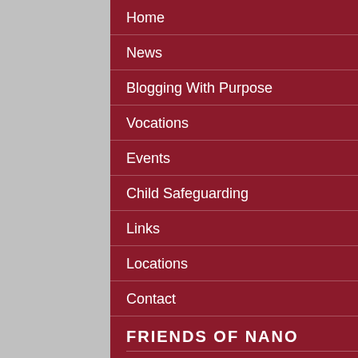Home
News
Blogging With Purpose
Vocations
Events
Child Safeguarding
Links
Locations
Contact
FRIENDS OF NANO
About Friends of Nano
Resources
Become a Friend of Nano